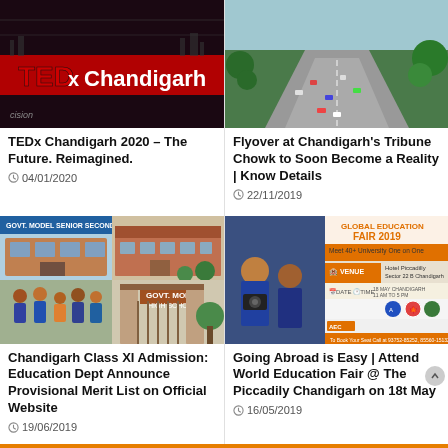[Figure (photo): TEDx Chandigarh event backdrop with red TEDx logo and 'Chandigarh' text in white on dark background]
TEDx Chandigarh 2020 – The Future. Reimagined.
04/01/2020
[Figure (photo): Aerial view of busy road traffic at Tribune Chowk, Chandigarh with trees visible]
Flyover at Chandigarh's Tribune Chowk to Soon Become a Reality | Know Details
22/11/2019
[Figure (photo): Collage of government school building and students in uniform outside Govt Model Senior Secondary School Chandigarh]
Chandigarh Class XI Admission: Education Dept Announce Provisional Merit List on Official Website
19/06/2019
[Figure (photo): Global Education Fair 2019 advertisement banner with students and AEC Abroad Education Consultants branding]
Going Abroad is Easy | Attend World Education Fair @ The Piccadily Chandigarh on 18t May
16/05/2019